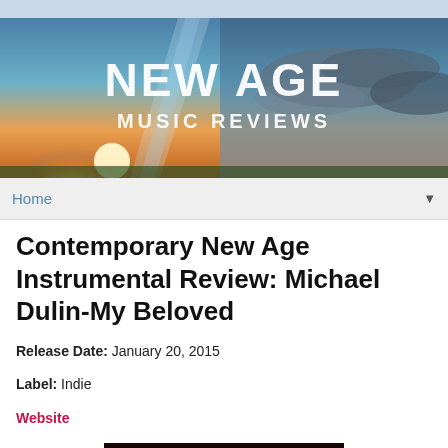[Figure (illustration): Website banner header for New Age Music Reviews showing a sunset sky with clouds and sun rays, with white bold text reading NEW AGE MUSIC REVIEWS]
Home
Contemporary New Age Instrumental Review: Michael Dulin-My Beloved
Release Date: January 20, 2015
Label: Indie
Website
[Figure (photo): Dark album cover image with a heart outline design visible]